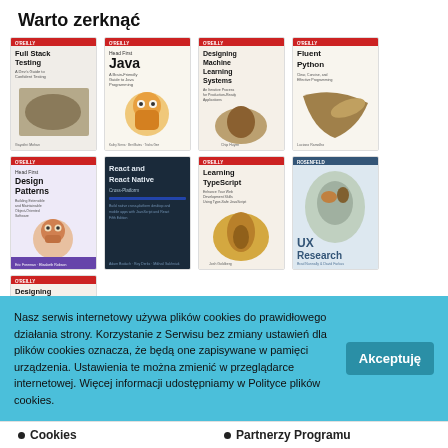Warto zerknąć
[Figure (illustration): Grid of O'Reilly book covers: Full Stack Testing, Head First Java, Designing Machine Learning Systems, Fluent Python, Head First Design Patterns, React and React Native, Learning TypeScript, UX Research, Designing Interfaces]
Nasz serwis internetowy używa plików cookies do prawidłowego działania strony. Korzystanie z Serwisu bez zmiany ustawień dla plików cookies oznacza, że będą one zapisywane w pamięci urządzenia. Ustawienia te można zmienić w przeglądarce internetowej. Więcej informacji udostępniamy w Polityce plików cookies.
Cookies
Partnerzy Programu